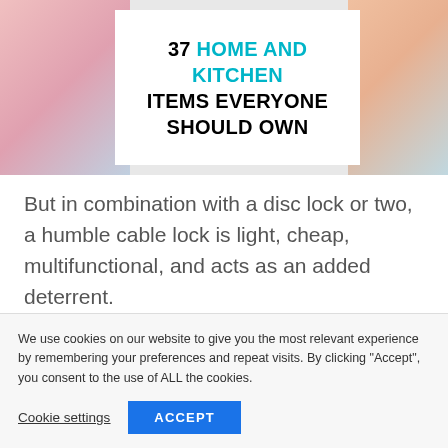[Figure (illustration): Banner image showing '37 HOME AND KITCHEN ITEMS EVERYONE SHOULD OWN' with teal and black bold text on white background, flanked by lifestyle photos]
But in combination with a disc lock or two, a humble cable lock is light, cheap, multifunctional, and acts as an added deterrent.
[Figure (photo): Top portion of a coiled cable lock in gray/silver tones]
We use cookies on our website to give you the most relevant experience by remembering your preferences and repeat visits. By clicking “Accept”, you consent to the use of ALL the cookies.
Cookie settings
ACCEPT